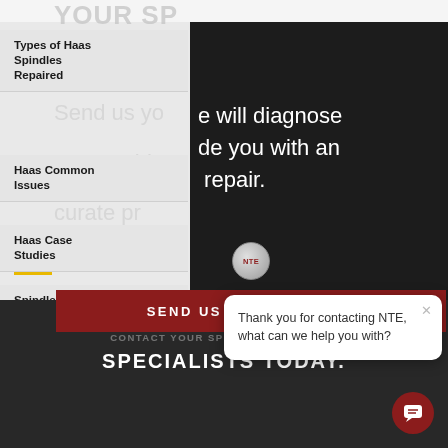YOUR SP[INDLE]
Types of Haas Spindles Repaired
Send us yo[ur] ... e will diagnose your proble[m] ... de you with an ... curate pr[ice for] ... r repair.
Haas Common Issues
Haas Case Studies
SEND US YOUR SPINDLE
Spindle Repair Process
1 Year Warranty
CONTACT YOUR SPINDLE REBUILDING SPECIALISTS TODAY.
Thank you for contacting NTE, what can we help you with?